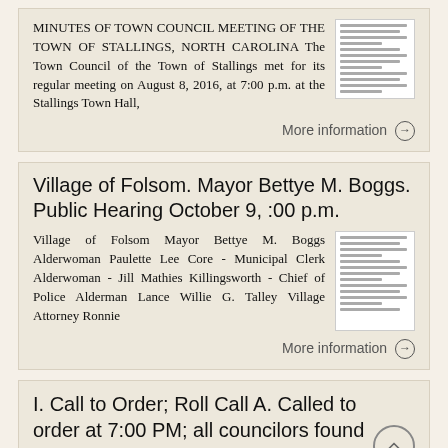MINUTES OF TOWN COUNCIL MEETING OF THE TOWN OF STALLINGS, NORTH CAROLINA The Town Council of the Town of Stallings met for its regular meeting on August 8, 2016, at 7:00 p.m. at the Stallings Town Hall,
More information →
Village of Folsom. Mayor Bettye M. Boggs. Public Hearing October 9, :00 p.m.
Village of Folsom Mayor Bettye M. Boggs Alderwoman Paulette Lee Core - Municipal Clerk Alderwoman - Jill Mathies Killingsworth - Chief of Police Alderman Lance Willie G. Talley Village Attorney Ronnie
More information →
I. Call to Order; Roll Call A. Called to order at 7:00 PM; all councilors found to be